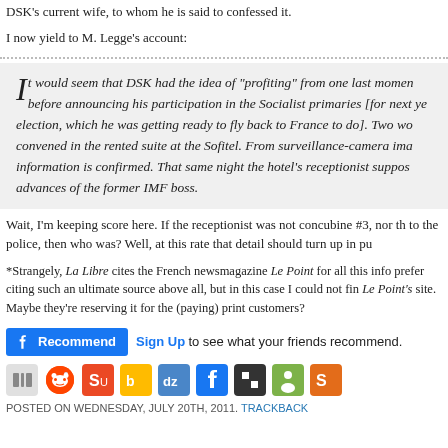three – and murder is still 'alleged'). This information comes from a friend, DSK's current wife, to whom he is said to confessed it.
I now yield to M. Legge's account:
It would seem that DSK had the idea of "profiting" from one last moment before announcing his participation in the Socialist primaries [for next year's election, which he was getting ready to fly back to France to do]. Two women convened in the rented suite at the Sofitel. From surveillance-camera images, this information is confirmed. That same night the hotel's receptionist supposedly rebuffed advances of the former IMF boss.
Wait, I'm keeping score here. If the receptionist was not concubine #3, nor the woman who went to the police, then who was? Well, at this rate that detail should turn up in public soon.
*Strangely, La Libre cites the French newsmagazine Le Point for all this information. I prefer citing such an ultimate source above all, but in this case I could not find the article on Le Point's site. Maybe they're reserving it for the (paying) print customers?
[Figure (other): Facebook Recommend button and Sign Up social sharing widget]
[Figure (other): Row of social sharing icons: Digg, Reddit, StumbleUpon, Buzz, Diigo, Facebook, Delicious, Tipd, Sphinn]
POSTED ON WEDNESDAY, JULY 20TH, 2011. TRACKBACK